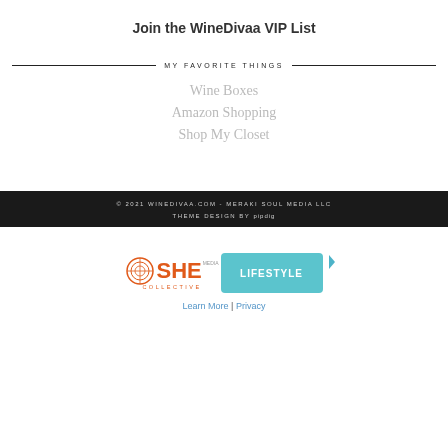Join the WineDivaa VIP List
MY FAVORITE THINGS
Wine Boxes
Amazon Shopping
Shop My Closet
© 2021 WINEDIVAA.COM - MERAKI SOUL MEDIA LLC
THEME DESIGN BY pipdig
[Figure (logo): SHE Media Collective Lifestyle badge advertisement with play icon]
Learn More | Privacy